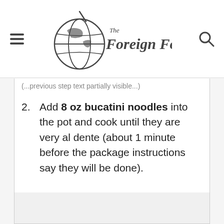The Foreign Fork
Add 8 oz bucatini noodles into the pot and cook until they are very al dente (about 1 minute before the package instructions say they will be done).